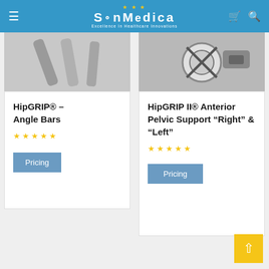SunMedica — Excellence in Healthcare Innovations
[Figure (photo): Product image for HipGRIP Angle Bars — medical device angle bars shown in grey]
HipGRIP® – Angle Bars
[Figure (other): 5 empty star rating icons in yellow]
Pricing
[Figure (photo): Product image for HipGRIP II Anterior Pelvic Support — medical device shown in black and white]
HipGRIP II® Anterior Pelvic Support “Right” & “Left”
[Figure (other): 5 empty star rating icons in yellow]
Pricing